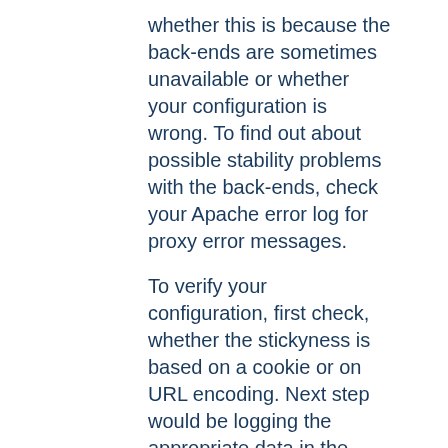whether this is because the back-ends are sometimes unavailable or whether your configuration is wrong. To find out about possible stability problems with the back-ends, check your Apache error log for proxy error messages.
To verify your configuration, first check, whether the stickyness is based on a cookie or on URL encoding. Next step would be logging the appropriate data in the access log by using an enhanced LogFormat. The following fields are useful:
%{MYCOOKIE}C
The value